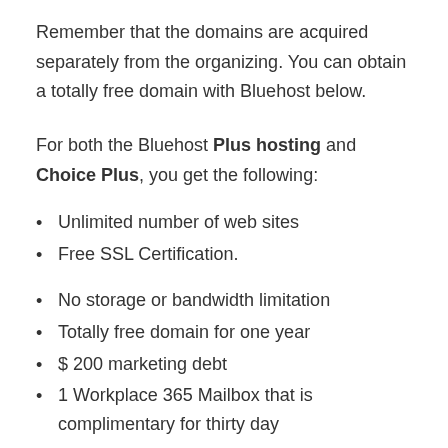Remember that the domains are acquired separately from the organizing. You can obtain a totally free domain with Bluehost below.
For both the Bluehost Plus hosting and Choice Plus, you get the following:
Unlimited number of web sites
Free SSL Certification.
No storage or bandwidth limitation
Totally free domain for one year
$ 200 marketing debt
1 Workplace 365 Mailbox that is complimentary for thirty day
The Choice Plus strategy has actually an added advantage of Code Guard Basic Alternative, a back-up system where your data is...